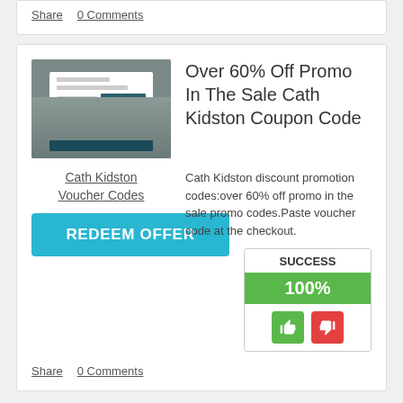Share   0 Comments
[Figure (screenshot): Thumbnail image of Cath Kidston website with a popup overlay showing input fields and a dark button, bag with items visible in background]
Over 60% Off Promo In The Sale Cath Kidston Coupon Code
Cath Kidston Voucher Codes
Cath Kidston discount promotion codes:over 60% off promo in the sale promo codes.Paste voucher code at the checkout.
SUCCESS
100%
REDEEM OFFER
Share   0 Comments